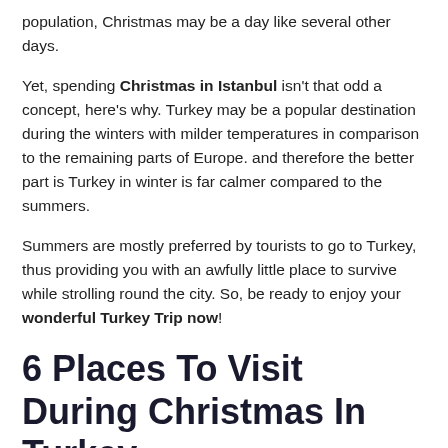population, Christmas may be a day like several other days.
Yet, spending Christmas in Istanbul isn't that odd a concept, here's why. Turkey may be a popular destination during the winters with milder temperatures in comparison to the remaining parts of Europe. and therefore the better part is Turkey in winter is far calmer compared to the summers.
Summers are mostly preferred by tourists to go to Turkey, thus providing you with an awfully little place to survive while strolling round the city. So, be ready to enjoy your wonderful Turkey Trip now!
6 Places To Visit During Christmas In Turkey
In Turkey Christmas celebrations in Turkey are more sort of a 'Do it yourself Christmas', you may not find a crowd catering